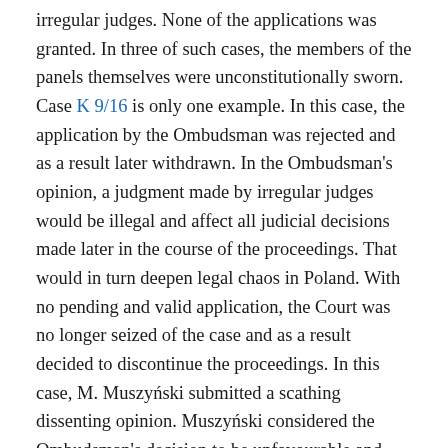irregular judges. None of the applications was granted. In three of such cases, the members of the panels themselves were unconstitutionally sworn. Case K 9/16 is only one example. In this case, the application by the Ombudsman was rejected and as a result later withdrawn. In the Ombudsman's opinion, a judgment made by irregular judges would be illegal and affect all judicial decisions made later in the course of the proceedings. That would in turn deepen legal chaos in Poland. With no pending and valid application, the Court was no longer seized of the case and as a result decided to discontinue the proceedings. In this case, M. Muszyński submitted a scathing dissenting opinion. Muszyński considered the Ombudsman's decision to be unfavourable and incomprehensible to the public. According to Muszyński, The Ombudsman's requests to exclude persons from the panel were a manifestation of "judicial barratry" which disturb the functioning of the